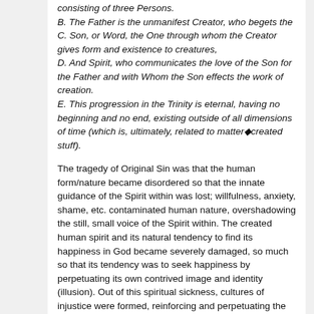consisting of three Persons.
B. The Father is the unmanifest Creator, who begets the
C. Son, or Word, the One through whom the Creator gives form and existence to creatures,
D. And Spirit, who communicates the love of the Son for the Father and with Whom the Son effects the work of creation.
E. This progression in the Trinity is eternal, having no beginning and no end, existing outside of all dimensions of time (which is, ultimately, related to matter◆created stuff).
The tragedy of Original Sin was that the human form/nature became disordered so that the innate guidance of the Spirit within was lost; willfulness, anxiety, shame, etc. contaminated human nature, overshadowing the still, small voice of the Spirit within. The created human spirit and its natural tendency to find its happiness in God became severely damaged, so much so that its tendency was to seek happiness by perpetuating its own contrived image and identity (illusion). Out of this spiritual sickness, cultures of injustice were formed, reinforcing and perpetuating the disorder within.
God◆s ultimate remedy was to incarnate as a human being through the Word, restoring human nature in this Christ or New Adam, and thus introducing into the race through Christ◆s divine nature the movement of